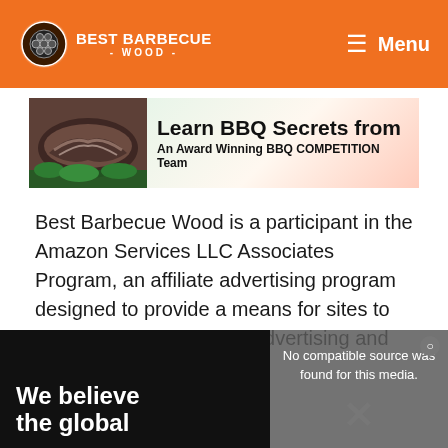BEST BARBECUE WOOD - Menu
[Figure (infographic): Banner advertisement: Learn BBQ Secrets from An Award Winning BBQ COMPETITION Team, with image of barbecued meat on the left]
Best Barbecue Wood is a participant in the Amazon Services LLC Associates Program, an affiliate advertising program designed to provide a means for sites to earn advertising fees by advertising and linking to Amazon.com
[Figure (infographic): Bottom advertisement with black background showing 'We believe the global' text on left, and a video player error message 'No compatible source was found for this media' on the right with an X close button]